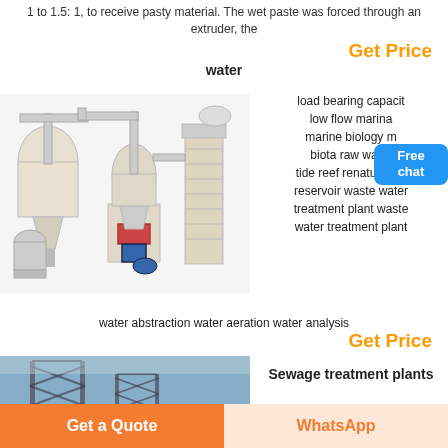1 to 1.5: 1, to receive pasty material. The wet paste was forced through an extruder, the
Get Price
water
[Figure (photo): Industrial grinding mill machine with cyclone separators and elevator conveyor]
load bearing capacity low flow marina marine biology m biota raw water tide reef renaturation reservoir waste water treatment plant waste water treatment plant water abstraction water aeration water analysis
Get Price
[Figure (photo): Industrial tower structure with blue sky background]
Sewage treatment plants
Get a Quote
WhatsApp